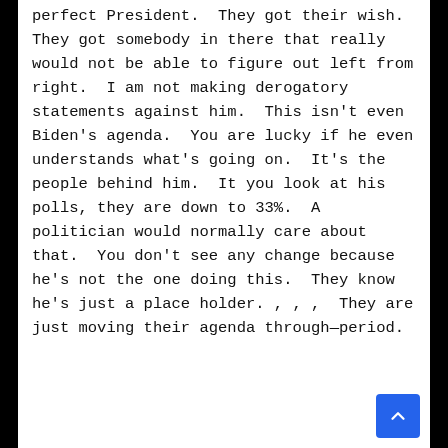perfect President.  They got their wish.  They got somebody in there that really would not be able to figure out left from right.  I am not making derogatory statements against him.  This isn't even Biden's agenda.  You are lucky if he even understands what's going on.  It's the people behind him.  It you look at his polls, they are down to 33%.  A politician would normally care about that.  You don't see any change because he's not the one doing this.  They know he's just a place holder. , , ,  They are just moving their agenda through—period.